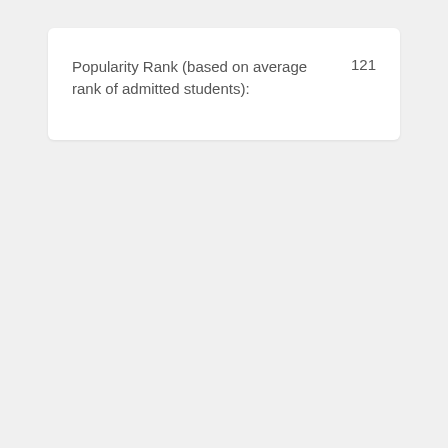Popularity Rank (based on average rank of admitted students): 121